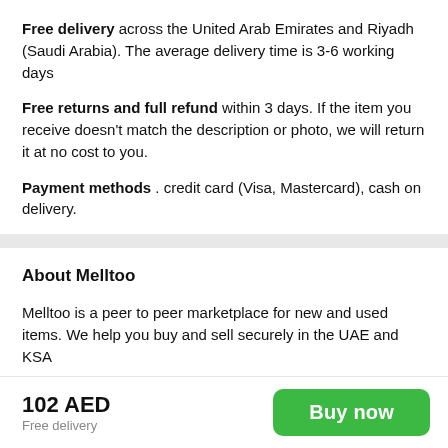Free delivery across the United Arab Emirates and Riyadh (Saudi Arabia). The average delivery time is 3-6 working days
Free returns and full refund within 3 days. If the item you receive doesn't match the description or photo, we will return it at no cost to you.
Payment methods . credit card (Visa, Mastercard), cash on delivery.
About Melltoo
Melltoo is a peer to peer marketplace for new and used items. We help you buy and sell securely in the UAE and KSA
We provide door to door delivery for both buyers and sellers, secure in-app chat a money-back guarantee and customer support to assist you in any situation.
102 AED
Free delivery
Buy now